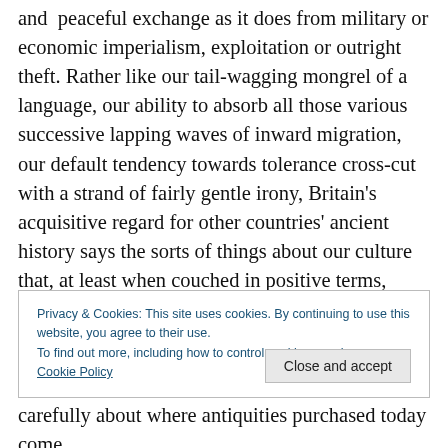and peaceful exchange as it does from military or economic imperialism, exploitation or outright theft. Rather like our tail-wagging mongrel of a language, our ability to absorb all those various successive lapping waves of inward migration, our default tendency towards tolerance cross-cut with a strand of fairly gentle irony, Britain's acquisitive regard for other countries' ancient history says the sorts of things about our culture that, at least when couched in positive terms, most of us are only too anxious to believe.
Privacy & Cookies: This site uses cookies. By continuing to use this website, you agree to their use. To find out more, including how to control cookies, see here: Cookie Policy
carefully about where antiquities purchased today come